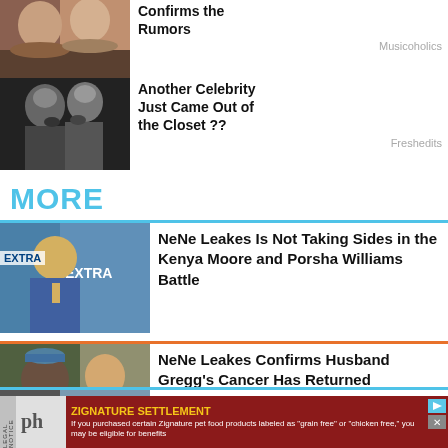[Figure (photo): Photo of two people at a music event, color photo]
Confirms the Rumors
Musicoholics
[Figure (photo): Black and white photo of two women close together, about to kiss]
Another Celebrity Just Came Out of the Closet ??
Freshedits
MORE
[Figure (photo): Photo of NeNe Leakes at an Extra TV event, blue denim outfit]
NeNe Leakes Is Not Taking Sides in the Kenya Moore and Porsha Williams Battle
[Figure (photo): Photo of NeNe Leakes with husband Gregg outdoors]
NeNe Leakes Confirms Husband Gregg's Cancer Has Returned
[Figure (photo): Partial view of another article thumbnail]
...ital ...s
[Figure (infographic): Advertisement banner: ZIGNATURE SETTLEMENT legal notice - If you purchased certain Zignature pet food products labeled as grain free or chicken free, you may be eligible for benefits]